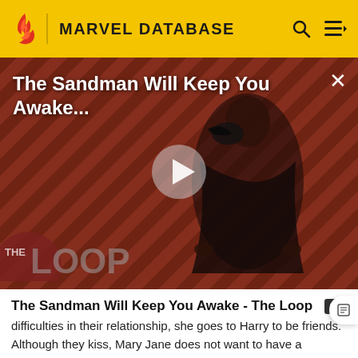MARVEL DATABASE
[Figure (screenshot): Video thumbnail for 'The Sandman Will Keep You Awake - The Loop' showing a dark-clad figure with a raven against a red diagonal-striped background, with THE LOOP watermark logo and a play button overlay.]
The Sandman Will Keep You Awake - The Loop
difficulties in their relationship, she goes to Harry to be friends. Although they kiss, Mary Jane does not want to have a relationship with Harry. Visions of Norman Osborn persist, forcing Harry to remember. Taking Norman's